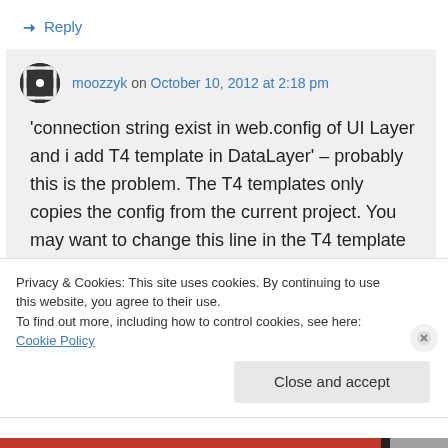↳ Reply
moozzyk on October 10, 2012 at 2:18 pm
'connection string exist in web.config of UI Layer and i add T4 template in DataLayer' – probably this is the problem. The T4 templates only copies the config from the current project. You may want to change this line in the T4 template
Privacy & Cookies: This site uses cookies. By continuing to use this website, you agree to their use.
To find out more, including how to control cookies, see here: Cookie Policy
Close and accept